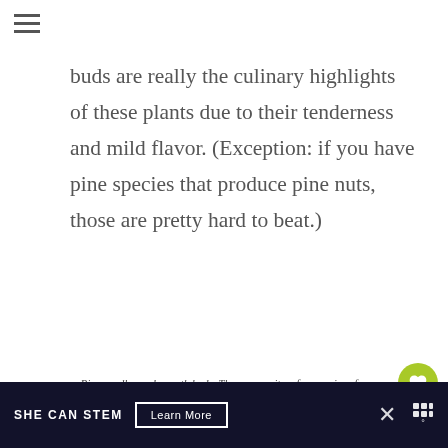buds are really the culinary highlights of these plants due to their tenderness and mild flavor. (Exception: if you have pine species that produce pine nuts, those are pretty hard to beat.)
Pine needles and growth buds. There are quite a few species of pines and we're not great at identifying them, although all produce good edible leaf buds in the spring. We think this one is a Loblolly Pine based on the number of needles in a cluster (3) and needle length.